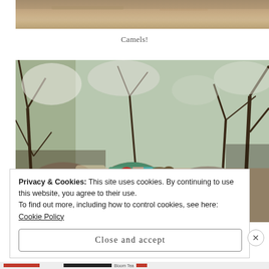[Figure (photo): Partial top of a photograph showing a dry, sandy landscape, cropped at the top of the page.]
Camels!
[Figure (photo): Photograph of donkeys with colorful blankets/saddlebags walking through a rocky, tree-covered hillside path.]
Privacy & Cookies: This site uses cookies. By continuing to use this website, you agree to their use.
To find out more, including how to control cookies, see here: Cookie Policy
Close and accept